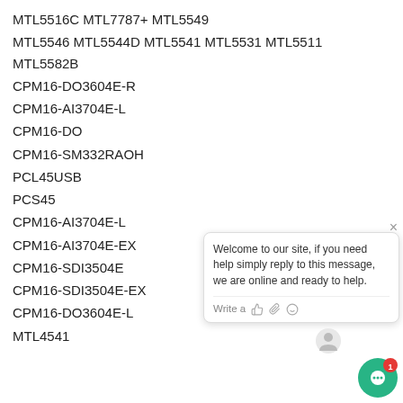MTL5516C MTL7787+ MTL5549
MTL5546 MTL5544D MTL5541 MTL5531 MTL5511 MTL5582B
CPM16-DO3604E-R
CPM16-AI3704E-L
CPM16-DO
CPM16-SM332RAOH
PCL45USB
PCS45
CPM16-AI3704E-L
CPM16-AI3704E-EX
CPM16-SDI3504E
CPM16-SDI3504E-EX
CPM16-DO3604E-L
MTL4541
[Figure (other): Chat widget overlay showing welcome message and input bar with avatar and green circle icon with notification badge]